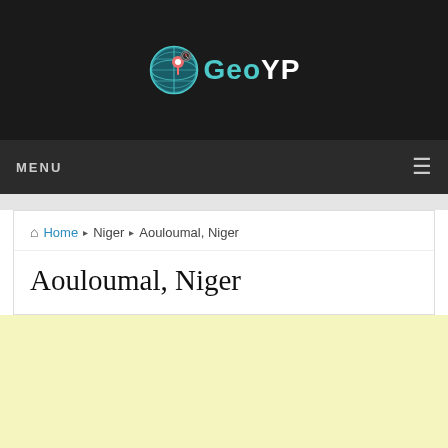GeoYP
MENU
Home ▶ Niger ▶ Aouloumal, Niger
Aouloumal, Niger
[Figure (other): Advertisement area with light yellow background]